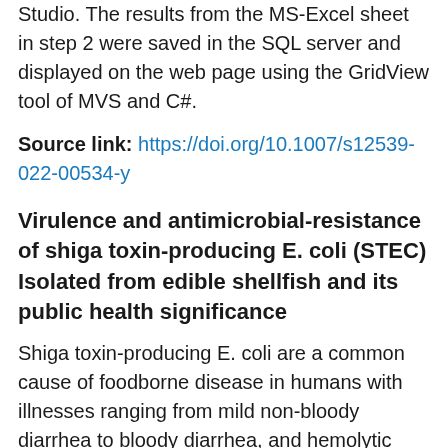Studio. The results from the MS-Excel sheet in step 2 were saved in the SQL server and displayed on the web page using the GridView tool of MVS and C#.
Source link: https://doi.org/10.1007/s12539-022-00534-y
Virulence and antimicrobial-resistance of shiga toxin-producing E. coli (STEC) Isolated from edible shellfish and its public health significance
Shiga toxin-producing E. coli are a common cause of foodborne disease in humans with illnesses ranging from mild non-bloody diarrhea to bloody diarrhea, and hemolytic uremic syndrome. This research was conducted to investigate the possibility of STEC in shellfish from the coastal